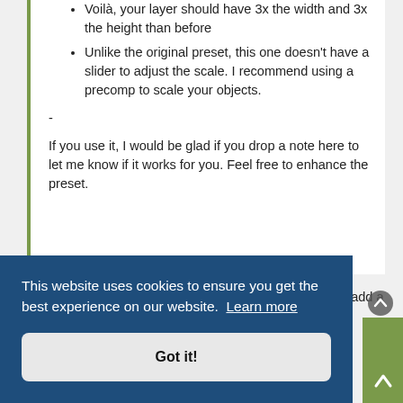Voilà, your layer should have 3x the width and 3x the height than before
Unlike the original preset, this one doesn't have a slider to adjust the scale. I recommend using a precomp to scale your objects.
-
If you use it, I would be glad if you drop a note here to let me know if it works for you. Feel free to enhance the preset.
Thanks! Really useful for my project. Is there anyway to add a scale slider?
This website uses cookies to ensure you get the best experience on our website. Learn more
Got it!